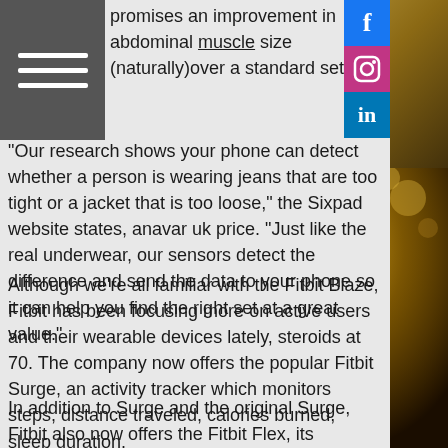[Figure (screenshot): Dark navigation/menu bar with three white horizontal lines (hamburger menu icon) on gray background]
[Figure (logo): Facebook logo icon - blue square with white 'f']
[Figure (logo): Instagram logo icon - pink/magenta square with camera outline]
[Figure (logo): LinkedIn logo icon - blue square with white 'in']
promises an improvement in abdominal muscle size (naturally)over a standard set.
"Our research shows your phone can detect whether a person is wearing jeans that are too tight or a jacket that is too loose," the Sixpad website states, anavar uk price. "Just like the real underwear, our sensors detect the difference and send the data to your phone so it can help you find the right set at a great value."
Although we're all familiar with the Fitbit Blaze, Fitbit has been focusing more on active users and their wearable devices lately, steroids at 70. The company now offers the popular Fitbit Surge, an activity tracker which monitors steps, distance traveled, calories burned, sleep duration.
In addition to Surge and the original Surge, Fitbit also now offers the Fitbit Flex, its
[Figure (photo): Blurred background photo of a baby hand/fingers pointing, on green grass, with warm golden bokeh lighting]